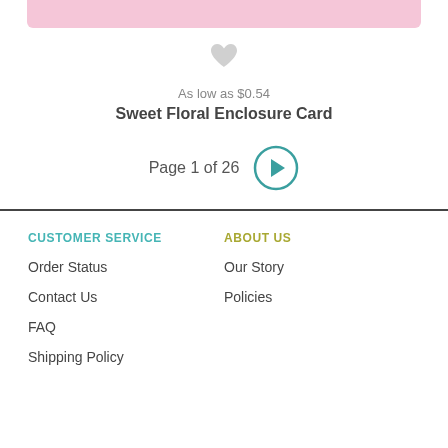[Figure (illustration): Pink decorative bar at top of product card]
[Figure (illustration): Gray heart/wishlist icon]
As low as $0.54
Sweet Floral Enclosure Card
Page 1 of 26
CUSTOMER SERVICE
Order Status
Contact Us
FAQ
Shipping Policy
ABOUT US
Our Story
Policies